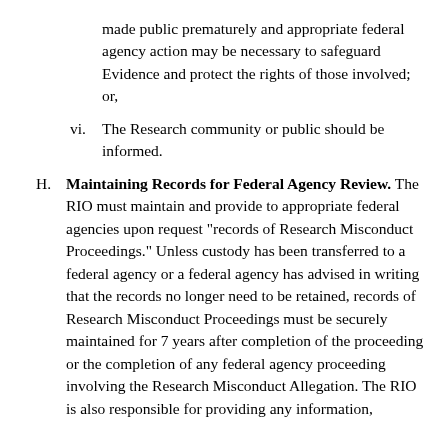made public prematurely and appropriate federal agency action may be necessary to safeguard Evidence and protect the rights of those involved; or,
vi. The Research community or public should be informed.
H. Maintaining Records for Federal Agency Review. The RIO must maintain and provide to appropriate federal agencies upon request "records of Research Misconduct Proceedings." Unless custody has been transferred to a federal agency or a federal agency has advised in writing that the records no longer need to be retained, records of Research Misconduct Proceedings must be securely maintained for 7 years after completion of the proceeding or the completion of any federal agency proceeding involving the Research Misconduct Allegation. The RIO is also responsible for providing any information,